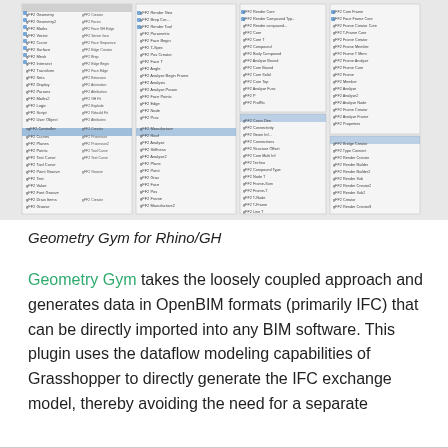[Figure (screenshot): Screenshot of Geometry Gym for Rhino/GH plugin interface showing multiple panels of component lists organized in columns, each with small icons and text labels representing IFC-related Grasshopper components.]
Geometry Gym for Rhino/GH
Geometry Gym takes the loosely coupled approach and generates data in OpenBIM formats (primarily IFC) that can be directly imported into any BIM software. This plugin uses the dataflow modeling capabilities of Grasshopper to directly generate the IFC exchange model, thereby avoiding the need for a separate